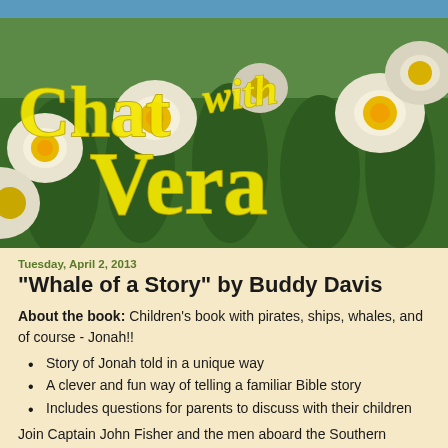[Figure (photo): Banner photo of white and yellow daffodil flowers with large yellow handwritten-style text reading 'Chat with Vera' overlaid on top]
Tuesday, April 2, 2013
"Whale of a Story" by Buddy Davis
About the book: Children's book with pirates, ships, whales, and of course - Jonah!!
Story of Jonah told in a unique way
A clever and fun way of telling a familiar Bible story
Includes questions for parents to discuss with their children
Join Captain John Fisher and the men aboard the Southern